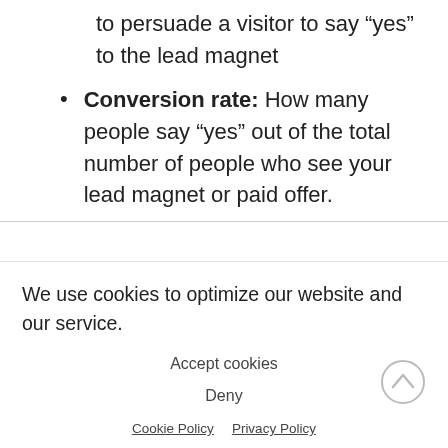to persuade a visitor to say “yes” to the lead magnet
Conversion rate: How many people say “yes” out of the total number of people who see your lead magnet or paid offer.
We use cookies to optimize our website and our service.
Accept cookies
Deny
Cookie Policy   Privacy Policy